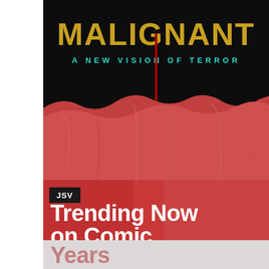[Figure (photo): Movie poster for 'Malignant' with yellow stylized title text, teal subtitle 'A NEW VISION OF TERROR', blood drip graphic, and red/pink background with hair or fabric texture at bottom]
[Figure (photo): Banner image with 'JSV' badge in dark box and large white bold text reading 'Trending Now on Comic Years', partially cut off, on a red/gray gradient background]